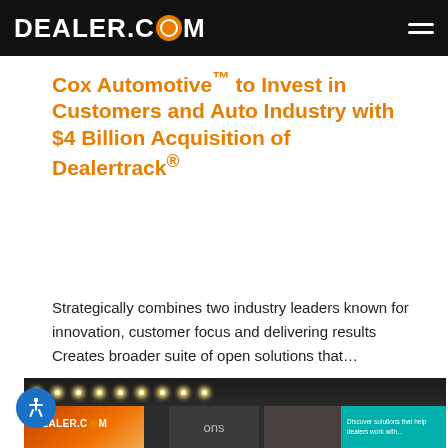DEALER.COM
Cox Automotive™ to Invest in Customers and Auto Industry with $4 Billion Acquisition of Dealertrack®
Strategically combines two industry leaders known for innovation, customer focus and delivering results Creates broader suite of open solutions that…
[Figure (photo): Trade show booth photo showing Dealer.com branding, orange diagonal booth panels, attendees, and a teal display screen with text]